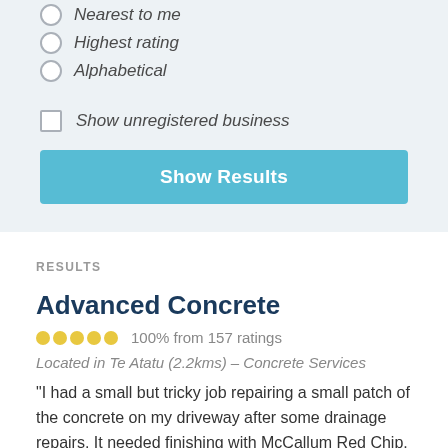Nearest to me
Highest rating
Alphabetical
Show unregistered business
Show Results
RESULTS
Advanced Concrete
100% from 157 ratings
Located in Te Atatu (2.2kms) – Concrete Services
"I had a small but tricky job repairing a small patch of the concrete on my driveway after some drainage repairs. It needed finishing with McCallum Red Chip. Most of the tradies I contacted couldn't be bothered with it, but Phil